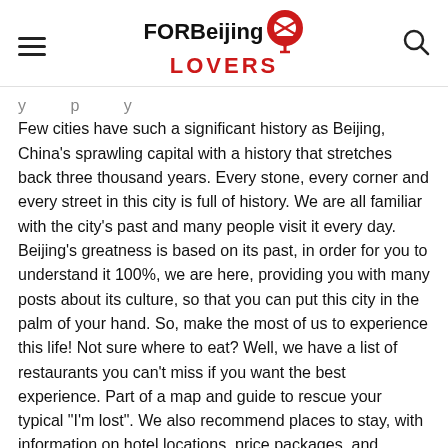FOR Beijing LOVERS
y p y
Few cities have such a significant history as Beijing, China's sprawling capital with a history that stretches back three thousand years. Every stone, every corner and every street in this city is full of history. We are all familiar with the city's past and many people visit it every day. Beijing's greatness is based on its past, in order for you to understand it 100%, we are here, providing you with many posts about its culture, so that you can put this city in the palm of your hand. So, make the most of us to experience this life! Not sure where to eat? Well, we have a list of restaurants you can't miss if you want the best experience. Part of a map and guide to rescue your typical "I'm lost". We also recommend places to stay, with information on hotel locations, price packages, and reviews.